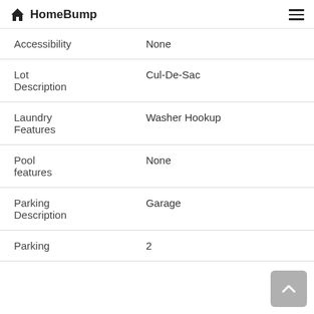HomeBump
| Feature | Value |
| --- | --- |
| Accessibility | None |
| Lot Description | Cul-De-Sac |
| Laundry Features | Washer Hookup |
| Pool features | None |
| Parking Description | Garage |
| Parking | 2 |